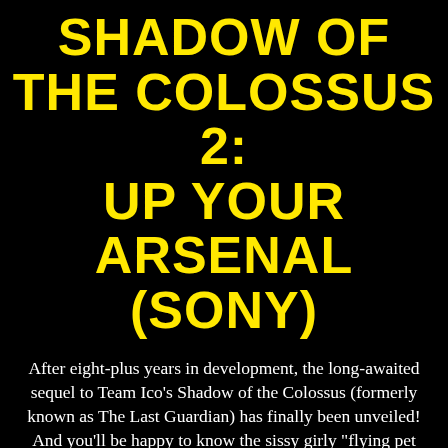SHADOW OF THE COLOSSUS 2: UP YOUR ARSENAL (Sony)
After eight-plus years in development, the long-awaited sequel to Team Ico's Shadow of the Colossus (formerly known as The Last Guardian) has finally been unveiled! And you'll be happy to know the sissy girly "flying pet thing" theme has been dropped in favor of something less risky and more likely to recoup the years of investments! Our new hero is Jack McStallion, who together with his elite team of super-soldiers, marches through a craggy brown wasteland on a mission to find and destroy seven gigantic beasties the best way they know how: by shooting at them! A lot!
Game requires an Internet connection pingback at all times, or else your save will be erased and the disc will self-